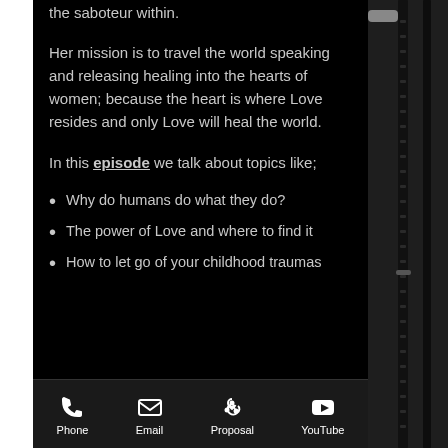the saboteur within.
Her mission is to travel the world speaking and releasing healing into the hearts of women; because the heart is where Love resides and only Love will heal the world.
In this episode we talk about topics like;
Why do humans do what they do?
The power of Love and where to find it
How to let go of your childhood traumas
Phone  Email  Proposal  YouTube